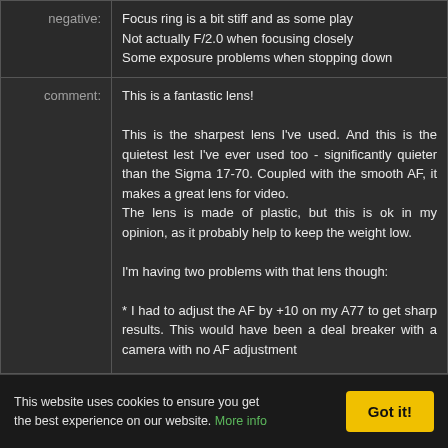| negative: | Focus ring is a bit stiff and as some play
Not actually F/2.0 when focusing closely
Some exposure problems when stopping down |
| comment: | This is a fantastic lens!

This is the sharpest lens I've used. And this is the quietest lest I've ever used too - significantly quieter than the Sigma 17-70. Coupled with the smooth AF, it makes a great lens for video.
The lens is made of plastic, but this is ok in my opinion, as it probably help to keep the weight low.

I'm having two problems with that lens though:

* I had to adjust the AF by +10 on my A77 to get sharp results. This would have been a deal breaker with a camera with no AF adjustment |
This website uses cookies to ensure you get the best experience on our website. More info